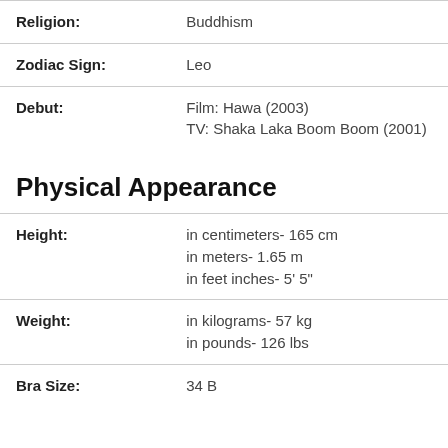| Religion: | Buddhism |
| Zodiac Sign: | Leo |
| Debut: | Film: Hawa (2003)
TV: Shaka Laka Boom Boom (2001) |
Physical Appearance
| Height: | in centimeters- 165 cm
in meters- 1.65 m
in feet inches- 5' 5" |
| Weight: | in kilograms- 57 kg
in pounds- 126 lbs |
| Bra Size: | 34 B |